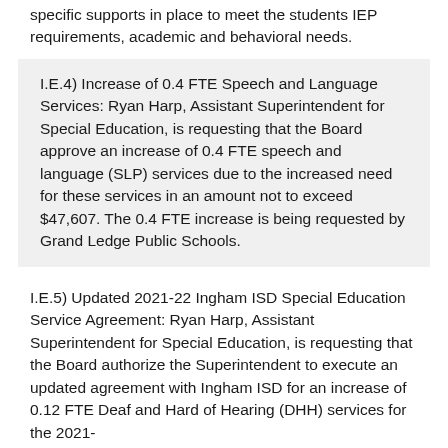specific supports in place to meet the students IEP requirements, academic and behavioral needs.
I.E.4) Increase of 0.4 FTE Speech and Language Services: Ryan Harp, Assistant Superintendent for Special Education, is requesting that the Board approve an increase of 0.4 FTE speech and language (SLP) services due to the increased need for these services in an amount not to exceed $47,607. The 0.4 FTE increase is being requested by Grand Ledge Public Schools.
I.E.5) Updated 2021-22 Ingham ISD Special Education Service Agreement: Ryan Harp, Assistant Superintendent for Special Education, is requesting that the Board authorize the Superintendent to execute an updated agreement with Ingham ISD for an increase of 0.12 FTE Deaf and Hard of Hearing (DHH) services for the 2021-